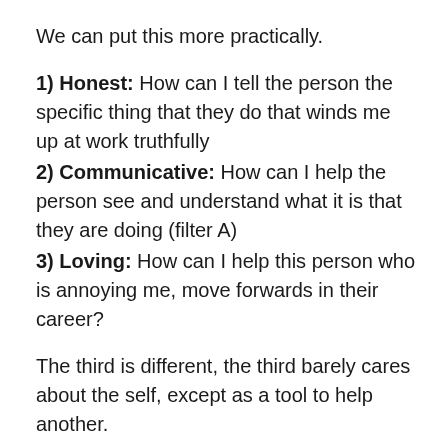We can put this more practically.
1) Honest: How can I tell the person the specific thing that they do that winds me up at work truthfully
2) Communicative: How can I help the person see and understand what it is that they are doing (filter A)
3) Loving: How can I help this person who is annoying me, move forwards in their career?
The third is different, the third barely cares about the self, except as a tool to help another.
In Christian terms this third position is easy to articulate. It is “How can I help them pursue God” or “How can I love them” or “How can I serve them”. These are questions behind literally every communication, every sentence, every piece of body language. You’re never yourself you’re